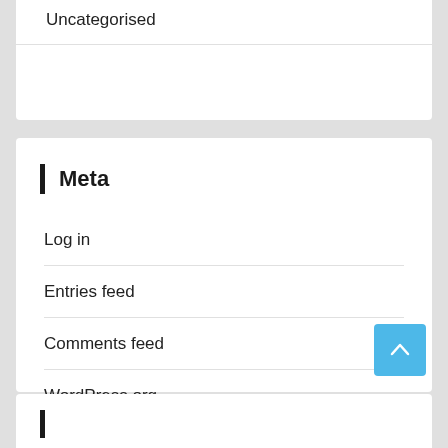Uncategorised
Meta
Log in
Entries feed
Comments feed
WordPress.org